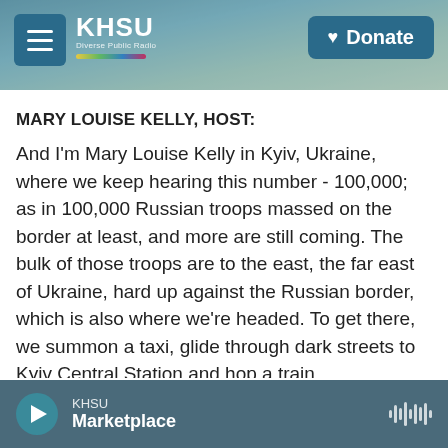KHSU — Donate
MARY LOUISE KELLY, HOST:
And I'm Mary Louise Kelly in Kyiv, Ukraine, where we keep hearing this number - 100,000; as in 100,000 Russian troops massed on the border at least, and more are still coming. The bulk of those troops are to the east, the far east of Ukraine, hard up against the Russian border, which is also where we're headed. To get there, we summon a taxi, glide through dark streets to Kyiv Central Station and hop a train.
We are going to a part of Ukraine where war is
KHSU Marketplace